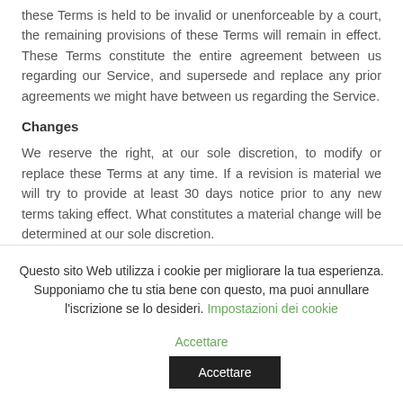these Terms is held to be invalid or unenforceable by a court, the remaining provisions of these Terms will remain in effect. These Terms constitute the entire agreement between us regarding our Service, and supersede and replace any prior agreements we might have between us regarding the Service.
Changes
We reserve the right, at our sole discretion, to modify or replace these Terms at any time. If a revision is material we will try to provide at least 30 days notice prior to any new terms taking effect. What constitutes a material change will be determined at our sole discretion.
By continuing to access or use our Service after those revisions become effective, you agree to be bound by the revised terms. If you do not agree to the new terms, please stop using the Service
Questo sito Web utilizza i cookie per migliorare la tua esperienza. Supponiamo che tu stia bene con questo, ma puoi annullare l'iscrizione se lo desideri. Impostazioni dei cookie